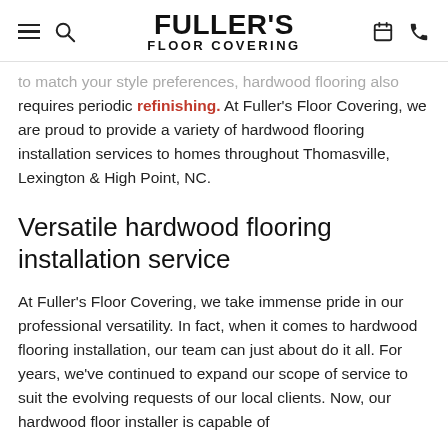FULLER'S FLOOR COVERING
to match your style preferences, hardwood flooring also requires periodic refinishing. At Fuller's Floor Covering, we are proud to provide a variety of hardwood flooring installation services to homes throughout Thomasville, Lexington & High Point, NC.
Versatile hardwood flooring installation service
At Fuller's Floor Covering, we take immense pride in our professional versatility. In fact, when it comes to hardwood flooring installation, our team can just about do it all. For years, we've continued to expand our scope of service to suit the evolving requests of our local clients. Now, our hardwood floor installer is capable of